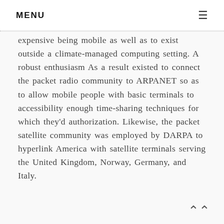MENU
expensive being mobile as well as to exist outside a climate-managed computing setting. A robust enthusiasm As a result existed to connect the packet radio community to ARPANET so as to allow mobile people with basic terminals to accessibility enough time-sharing techniques for which they'd authorization. Likewise, the packet satellite community was employed by DARPA to hyperlink America with satellite terminals serving the United Kingdom, Norway, Germany, and Italy.